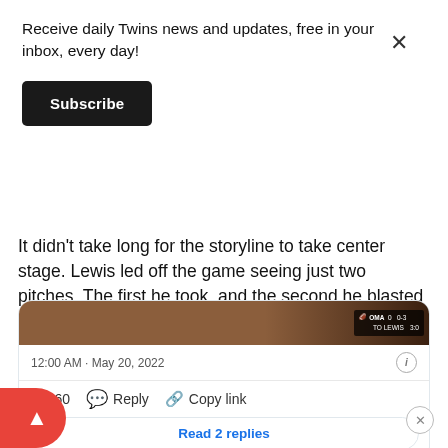Receive daily Twins news and updates, free in your inbox, every day!
Subscribe
[Figure (screenshot): Tweet card showing a baseball scoreboard image with OMA 0 score, timestamp 12:00 AM · May 20, 2022, 160 hearts, Reply and Copy link actions, and a 'Read 2 replies' button]
It didn't take long for the storyline to take center stage. Lewis led off the game seeing just two pitches. The first he took, and the second he blasted over the centerfield wall for his fourth home run of the season. Unfortunately for the Saints, they didn't...